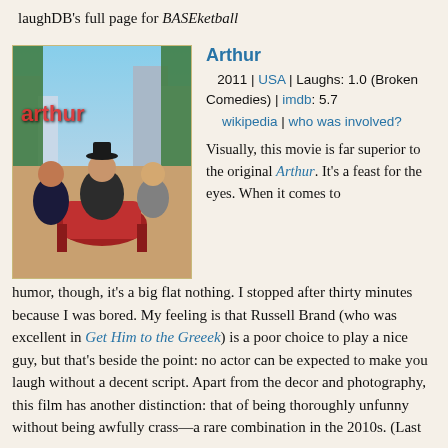laughDB's full page for BASEketball
[Figure (photo): Movie poster for Arthur (2011) showing three people posed in a fancy interior setting]
Arthur
2011 | USA | Laughs: 1.0 (Broken Comedies) | imdb: 5.7
wikipedia | who was involved?
Visually, this movie is far superior to the original Arthur. It's a feast for the eyes. When it comes to humor, though, it's a big flat nothing. I stopped after thirty minutes because I was bored. My feeling is that Russell Brand (who was excellent in Get Him to the Greeek) is a poor choice to play a nice guy, but that's beside the point: no actor can be expected to make you laugh without a decent script. Apart from the decor and photography, this film has another distinction: that of being thoroughly unfunny without being awfully crass—a rare combination in the 2010s. (Last